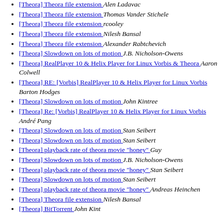[Theora] Theora file extension  Alen Ladavac
[Theora] Theora file extension  Thomas Vander Stichele
[Theora] Theora file extension  rcooley
[Theora] Theora file extension  Nilesh Bansal
[Theora] Theora file extension  Alexander Rabtchevich
[Theora] Slowdown on lots of motion  J.B. Nicholson-Owens
[Theora] RealPlayer 10 & Helix Player for Linux Vorbis & Theora  Aaron Colwell
[Theora] RE: [Vorbis] RealPlayer 10 & Helix Player for Linux Vorbis  Barton Hodges
[Theora] Slowdown on lots of motion  John Kintree
[Theora] Re: [Vorbis] RealPlayer 10 & Helix Player for Linux Vorbis  André Pang
[Theora] Slowdown on lots of motion  Stan Seibert
[Theora] Slowdown on lots of motion  Stan Seibert
[Theora] playback rate of theora movie "honey"  Guy
[Theora] Slowdown on lots of motion  J.B. Nicholson-Owens
[Theora] playback rate of theora movie "honey"  Stan Seibert
[Theora] Slowdown on lots of motion  Stan Seibert
[Theora] playback rate of theora movie "honey"  Andreas Heinchen
[Theora] Theora file extension  Nilesh Bansal
[Theora] BitTorrent  John Kintree